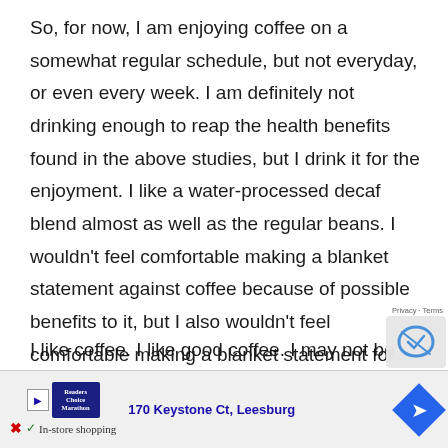So, for now, I am enjoying coffee on a somewhat regular schedule, but not everyday, or even every week. I am definitely not drinking enough to reap the health benefits found in the above studies, but I drink it for the enjoyment. I like a water-processed decaf blend almost as well as the regular beans. I wouldn't feel comfortable making a blanket statement against coffee because of possible benefits to it, but I also wouldn't feel comfortable making a blanket statement for coffee, since there are certainly concerns.
I like coffee. I like good coffee. I may not be the best person to drink a lot coffee on a regular basis, b[cut off]
find c[cut off by ad]
quest[cut off by ad]
[Figure (other): Advertisement bar at bottom showing '170 Keystone Ct, Leesburg', store logo, in-store shopping checkmark, navigation arrow icon, and reCAPTCHA overlay]